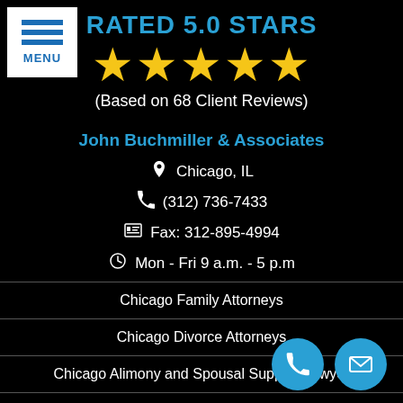[Figure (other): Menu button with three horizontal blue lines and MENU label]
RATED 5.0 STARS
[Figure (other): Five gold star rating icons]
(Based on 68 Client Reviews)
John Buchmiller & Associates
Chicago, IL
(312) 736-7433
Fax: 312-895-4994
Mon - Fri 9 a.m. - 5 p.m
Chicago Family Attorneys
Chicago Divorce Attorneys
Chicago Alimony and Spousal Support Lawyer
Chicago Child Visitation Attorne...